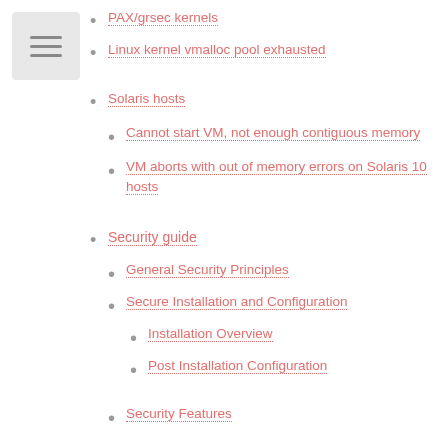[Figure (other): Hamburger menu icon button with three horizontal lines on a grey background]
PAX/grsec kernels
Linux kernel vmalloc pool exhausted
Solaris hosts
Cannot start VM, not enough contiguous memory
VM aborts with out of memory errors on Solaris 10 hosts
Security guide
General Security Principles
Secure Installation and Configuration
Installation Overview
Post Installation Configuration
Security Features